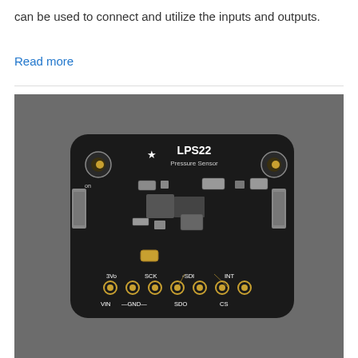can be used to connect and utilize the inputs and outputs.
Read more
[Figure (photo): Photo of the Adafruit LPS22 Pressure Sensor breakout board. The black PCB shows component labels including LPS22 Pressure Sensor, with labeled pins: VIN, GND, 3Vo, SCK, SDO, SDI, INT, CS. The board has an Adafruit star logo and two mounting holes.]